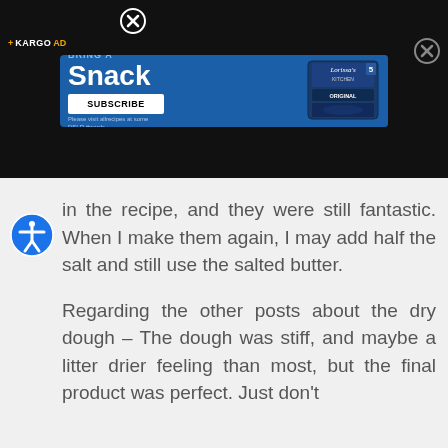[Figure (screenshot): Advertisement banner with dark background. Shows a 'Bring a Snack' ad with Subscribe button and Lorissa's Kitchen product image. Kargo AD label in top left, close buttons visible.]
in the recipe, and they were still fantastic. When I make them again, I may add half the salt and still use the salted butter.
Regarding the other posts about the dry dough – The dough was stiff, and maybe a litter drier feeling than most, but the final product was perfect. Just don't